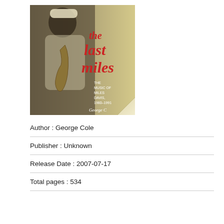[Figure (illustration): Book cover of 'The Last Miles: The Music of Miles Davis, 1980-1991' by George Cole. Shows a sepia-toned photo of Miles Davis with a saxophone, wearing a white tank top and a white hat. Large red italic text reads 'the last miles'. Smaller text reads 'THE MUSIC OF MILES DAVIS, 1980-1991' and 'George C...' with a page-curl effect in the lower right corner.]
Author : George Cole
Publisher : Unknown
Release Date : 2007-07-17
Total pages : 534